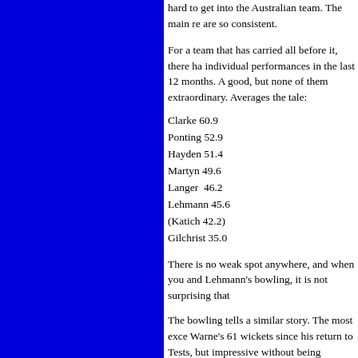hard to get into the Australian team. The main reason are so consistent.
For a team that has carried all before it, there have been individual performances in the last 12 months. All good, but none of them extraordinary. Averages tell the tale:
Clarke 60.9
Ponting 52.9
Hayden 51.4
Martyn 49.6
Langer  46.2
Lehmann 45.6
(Katich 42.2)
Gilchrist 35.0
There is no weak spot anywhere, and when you and Lehmann's bowling, it is not surprising that
The bowling tells a similar story. The most exceptional is Warne's 61 wickets since his return to Tests, but all impressive without being breathtaking:
McGrath 21.5
Warne 24.2